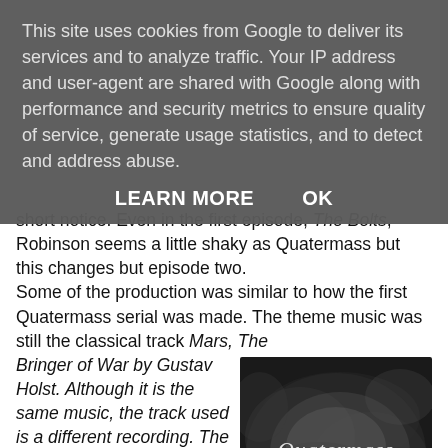This site uses cookies from Google to deliver its services and to analyze traffic. Your IP address and user-agent are shared with Google along with performance and security metrics to ensure quality of service, generate usage statistics, and to detect and address abuse.
LEARN MORE    OK
short notice. Even in the first episode, The Bolts, Robinson seems a little shaky as Quatermass but this changes but episode two.
Some of the production was similar to how the first Quatermass serial was made. The theme music was still the classical track Mars, The Bringer of War by Gustav Holst. Although it is the same music, the track used is a different recording. The title sequence looks similar to that of The Quatermass Experiment but actually done a completely different way. This was done with dry ice vapours through a sheet card with cut out letters for
[Figure (photo): Black and white image showing the word 'Quatermass' written in a smoky, stylized script against a dark background with swirling smoke effects.]